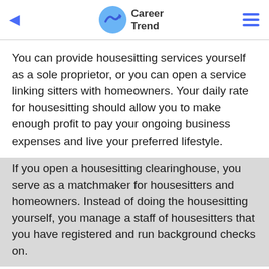Career Trend
You can provide housesitting services yourself as a sole proprietor, or you can open a service linking sitters with homeowners. Your daily rate for housesitting should allow you to make enough profit to pay your ongoing business expenses and live your preferred lifestyle.
If you open a housesitting clearinghouse, you serve as a matchmaker for housesitters and homeowners. Instead of doing the housesitting yourself, you manage a staff of housesitters that you have registered and run background checks on.